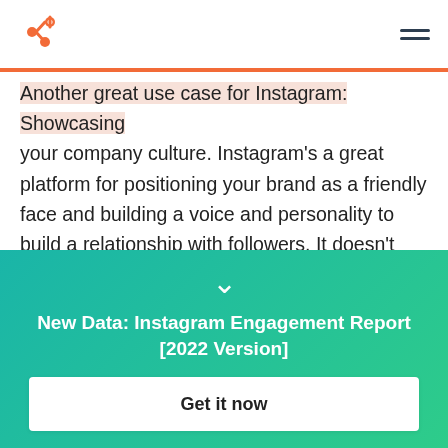HubSpot logo and navigation menu
Another great use case for Instagram: Showcasing your company culture. Instagram's a great platform for positioning your brand as a friendly face and building a voice and personality to build a relationship with followers. It doesn't hurt for recruitment, either.
Here's a wonderful and whimsical video that cuts together short clips from WeWork's company party.
[Figure (other): Teal to green gradient CTA banner with chevron icon, title text 'New Data: Instagram Engagement Report [2022 Version]' and a white 'Get it now' button]